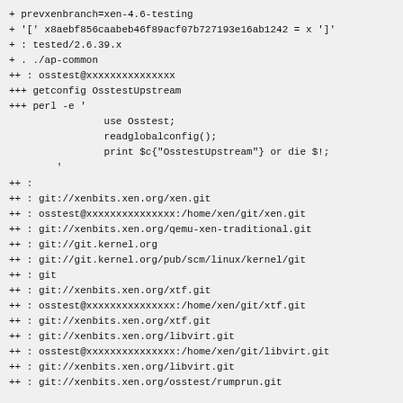+ prevxenbranch=xen-4.6-testing
+ '[' x8aebf856caabeb46f89acf07b727193e16ab1242 = x ']'
+ : tested/2.6.39.x
+ . ./ap-common
++ : osstest@xxxxxxxxxxxxxxx
+++ getconfig OsstestUpstream
+++ perl -e '
                use Osstest;
                readglobalconfig();
                print $c{"OsstestUpstream"} or die $!;
        '
++ :
++ : git://xenbits.xen.org/xen.git
++ : osstest@xxxxxxxxxxxxxxx:/home/xen/git/xen.git
++ : git://xenbits.xen.org/qemu-xen-traditional.git
++ : git://git.kernel.org
++ : git://git.kernel.org/pub/scm/linux/kernel/git
++ : git
++ : git://xenbits.xen.org/xtf.git
++ : osstest@xxxxxxxxxxxxxxx:/home/xen/git/xtf.git
++ : git://xenbits.xen.org/xtf.git
++ : git://xenbits.xen.org/libvirt.git
++ : osstest@xxxxxxxxxxxxxxx:/home/xen/git/libvirt.git
++ : git://xenbits.xen.org/libvirt.git
++ : git://xenbits.xen.org/osstest/rumprun.git